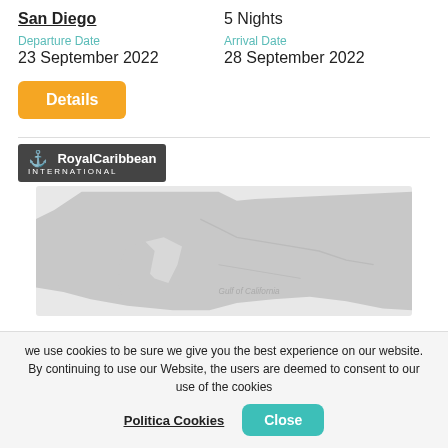San Diego
5 Nights
Departure Date
23 September 2022
Arrival Date
28 September 2022
Details
[Figure (map): Royal Caribbean International logo above a map showing the western United States coastline and Gulf of California region]
we use cookies to be sure we give you the best experience on our website. By continuing to use our Website, the users are deemed to consent to our use of the cookies
Politica Cookies
Close